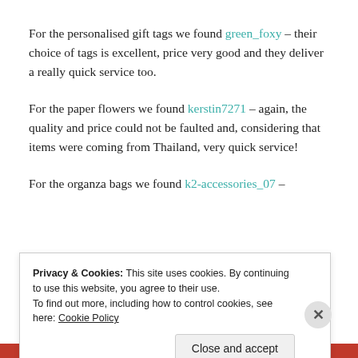For the personalised gift tags we found green_foxy – their choice of tags is excellent, price very good and they deliver a really quick service too.
For the paper flowers we found kerstin7271 – again, the quality and price could not be faulted and, considering that items were coming from Thailand, very quick service!
For the organza bags we found k2-accessories_07 –
Privacy & Cookies: This site uses cookies. By continuing to use this website, you agree to their use.
To find out more, including how to control cookies, see here: Cookie Policy